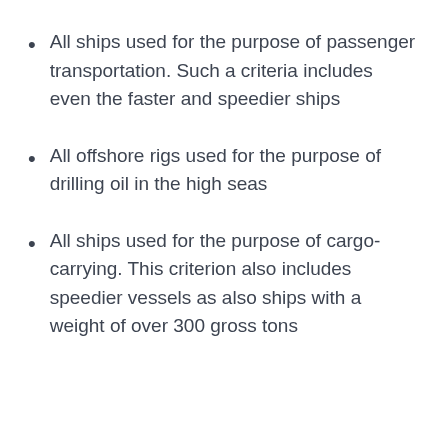All ships used for the purpose of passenger transportation. Such a criteria includes even the faster and speedier ships
All offshore rigs used for the purpose of drilling oil in the high seas
All ships used for the purpose of cargo-carrying. This criterion also includes speedier vessels as also ships with a weight of over 300 gross tons